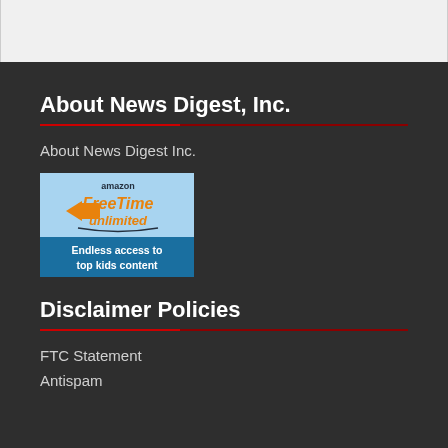About News Digest, Inc.
About News Digest Inc.
[Figure (illustration): Amazon FreeTime Unlimited advertisement banner — light blue background with amazon logo, orange 'FreeTime unlimited' text with envelope/tag icon, and text 'Endless access to top kids content']
Disclaimer Policies
FTC Statement
Antispam